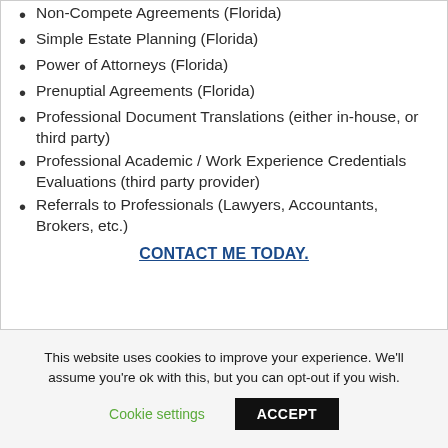Non-Compete Agreements (Florida)
Simple Estate Planning (Florida)
Power of Attorneys (Florida)
Prenuptial Agreements (Florida)
Professional Document Translations (either in-house, or third party)
Professional Academic / Work Experience Credentials Evaluations (third party provider)
Referrals to Professionals (Lawyers, Accountants, Brokers, etc.)
CONTACT ME TODAY.
This website uses cookies to improve your experience. We'll assume you're ok with this, but you can opt-out if you wish.
Cookie settings  ACCEPT